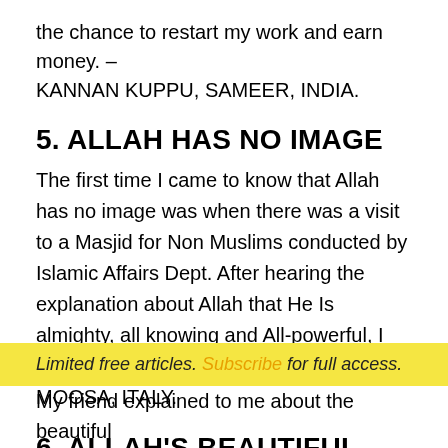the chance to restart my work and earn money. – KANNAN KUPPU, SAMEER, INDIA.
5. ALLAH HAS NO IMAGE
The first time I came to know that Allah has no image was when there was a visit to a Masjid for Non Muslims conducted by Islamic Affairs Dept. After hearing the explanation about Allah that He Is almighty, all knowing and All-powerful, I accepted Islam. – MANUEL PARRA, MOOSA, ITALY.
6. ALLAH'S BEAUTIFUL,
Limited free articles. Subscribe for full access.
My friend explained to me about the beautiful